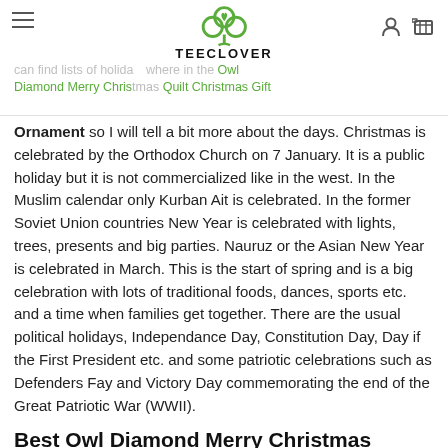TEECLOVER — navigation header with logo, hamburger menu, user icon, cart icon
can find lists of holidays anywhere in the Owl Diamond Merry Christmas Quilt Christmas Gift Ornament so I will tell a bit more about the days. Christmas is celebrated by the Orthodox Church on 7 January. It is a public holiday but it is not commercialized like in the west. In the Muslim calendar only Kurban Ait is celebrated. In the former Soviet Union countries New Year is celebrated with lights, trees, presents and big parties. Nauruz or the Asian New Year is celebrated in March. This is the start of spring and is a big celebration with lots of traditional foods, dances, sports etc. and a time when families get together. There are the usual political holidays, Independance Day, Constitution Day, Day if the First President etc. and some patriotic celebrations such as Defenders Fay and Victory Day commemorating the end of the Great Patriotic War (WWII).
Best Owl Diamond Merry Christmas Bedding